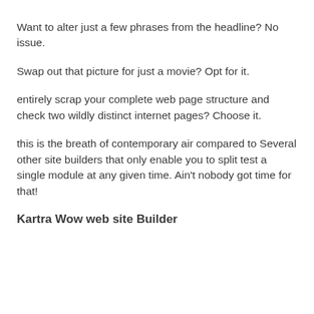Want to alter just a few phrases from the headline? No issue.
Swap out that picture for just a movie? Opt for it.
entirely scrap your complete web page structure and check two wildly distinct internet pages? Choose it.
this is the breath of contemporary air compared to Several other site builders that only enable you to split test a single module at any given time. Ain't nobody got time for that!
Kartra Wow web site Builder